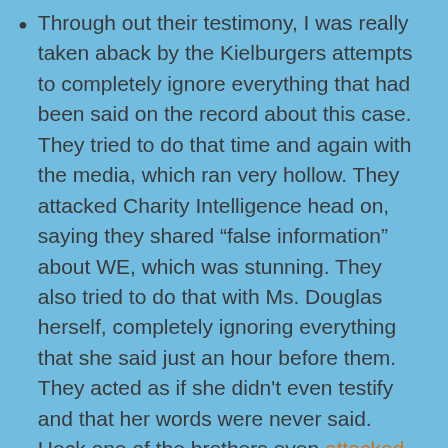Through out their testimony, I was really taken aback by the Kielburgers attempts to completely ignore everything that had been said on the record about this case. They tried to do that time and again with the media, which ran very hollow. They attacked Charity Intelligence head on, saying they shared “false information” about WE, which was stunning. They also tried to do that with Ms. Douglas herself, completely ignoring everything that she said just an hour before them. They acted as if she didn't even testify and that her words were never said. Heck one of the brothers even attacked Conservative MP James Cummings saying that by asking questions he was “repeating …”